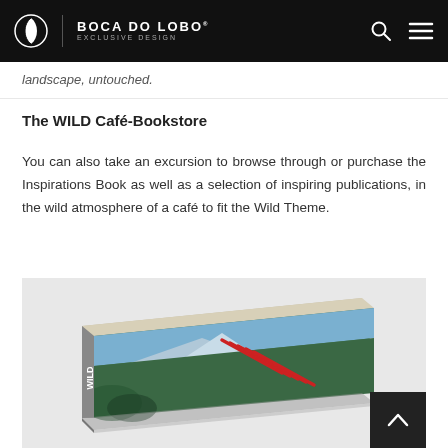BOCA DO LOBO | exclusive design
landscape, untouched.
The WILD Café-Bookstore
You can also take an excursion to browse through or purchase the Inspirations Book as well as a selection of inspiring publications, in the wild atmosphere of a café to fit the Wild Theme.
[Figure (photo): A perspective view of the Wild Inspirations Book lying flat, showing a nature/landscape cover with mountains, tropical foliage, and red diagonal lines with the word WILD on the spine.]